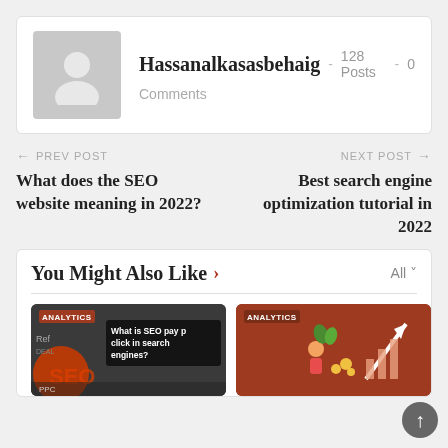Hassanalkasasbehaig · 128 Posts · 0 Comments
← PREV POST
What does the SEO website meaning in 2022?
NEXT POST →
Best search engine optimization tutorial in 2022
You Might Also Like
[Figure (screenshot): Thumbnail showing 'What is SEO pay per click in search engines?' with ANALYTICS badge]
[Figure (illustration): Red-brown thumbnail with ANALYTICS badge showing chart illustration]